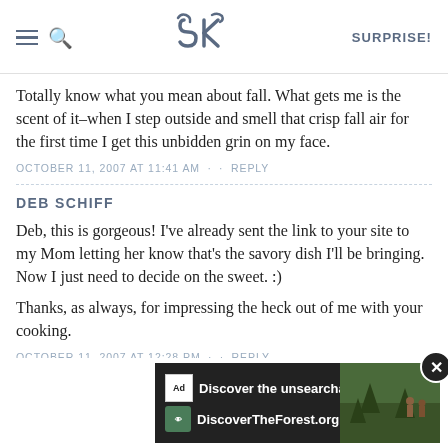SK SURPRISE!
Totally know what you mean about fall. What gets me is the scent of it–when I step outside and smell that crisp fall air for the first time I get this unbidden grin on my face.
OCTOBER 11, 2007 AT 11:41 AM · · REPLY
DEB SCHIFF
Deb, this is gorgeous! I've already sent the link to your site to my Mom letting her know that's the savory dish I'll be bringing. Now I just need to decide on the sweet. :)
Thanks, as always, for impressing the heck out of me with your cooking.
OCTOBER 11, 2007 AT 12:28 PM · · REPLY
CAROL
[Figure (screenshot): Advertisement banner: 'Discover the unsearchable / DiscoverTheForest.org' with forest imagery and a close button]